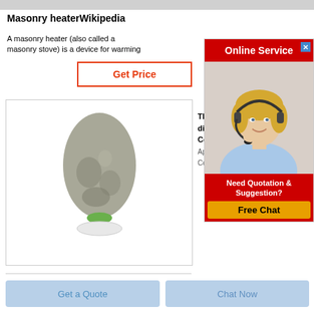[Figure (screenshot): Top gray navigation/header bar]
Masonry heaterWikipedia
A masonry heater (also called a masonry stove) is a device for warming
Get Price
[Figure (photo): A gray powder product shaped like an elongated oval/teardrop on a small green base]
The diffe Cov Apr C Covid
[Figure (screenshot): Online Service advertisement panel with a blonde woman wearing a headset, red header saying Online Service, and a Free Chat button]
Get a Quote
Chat Now